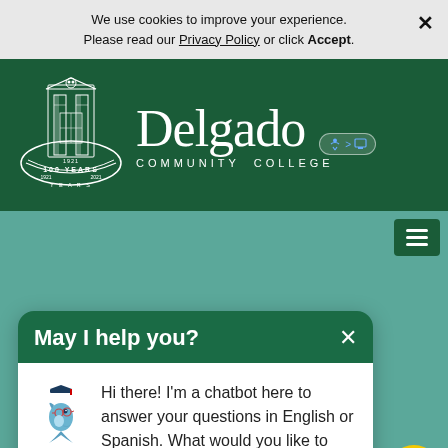We use cookies to improve your experience. Please read our Privacy Policy or click Accept.
[Figure (logo): Delgado Community College logo with 100 Years seal on green background]
May I help you?
Hi there! I'm a chatbot here to answer your questions in English or Spanish. What would you like to know?
Library